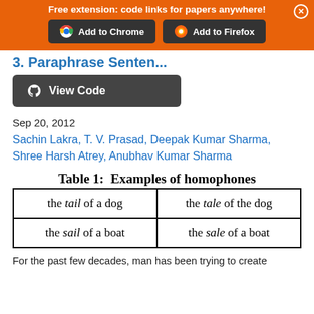Free extension: code links for papers anywhere!
[Figure (screenshot): Add to Chrome and Add to Firefox buttons on orange banner]
3. Paraphrase Senten...
[Figure (screenshot): View Code button (GitHub icon, dark background)]
Sep 20, 2012
Sachin Lakra, T. V. Prasad, Deepak Kumar Sharma, Shree Harsh Atrey, Anubhav Kumar Sharma
Table 1: Examples of homophones
| the tail of a dog | the tale of the dog |
| the sail of a boat | the sale of a boat |
For the past few decades, man has been trying to create